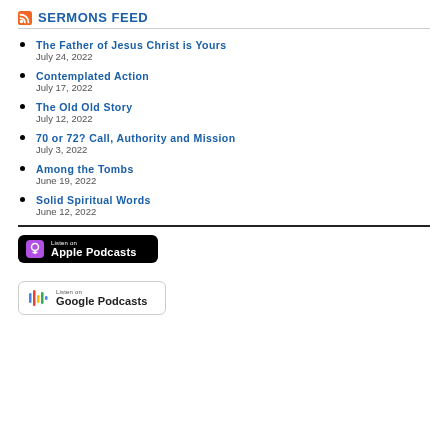SERMONS FEED
The Father of Jesus Christ is Yours
July 24, 2022
Contemplated Action
July 17, 2022
The Old Old Story
July 12, 2022
70 or 72? Call, Authority and Mission
July 3, 2022
Among the Tombs
June 19, 2022
Solid Spiritual Words
June 12, 2022
[Figure (logo): Listen on Apple Podcasts badge — black rounded rectangle with podcast icon and white text]
[Figure (logo): Listen on Google Podcasts badge — white rounded rectangle with Google Podcasts colorful icon and text]